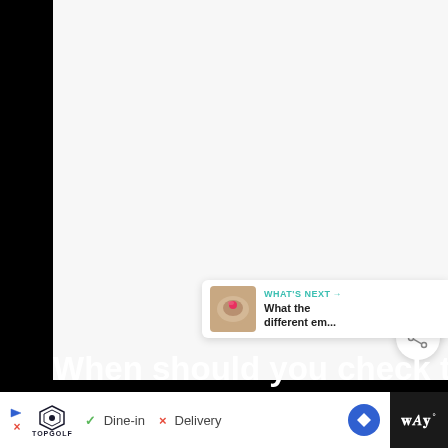[Figure (screenshot): White/light gray content area - main article image placeholder (blank)]
[Figure (other): Share button - circular white button with share icon (network nodes connected by lines with plus)]
[Figure (other): WHAT'S NEXT panel with thumbnail (bowl with pink flower/heart) showing: 'WHAT'S NEXT → What the different em...']
When should you check the
[Figure (other): Advertisement bar: Topgolf logo with Dine-in checkmark and Delivery X, navigation arrow icon, and W logo on dark background on right side]